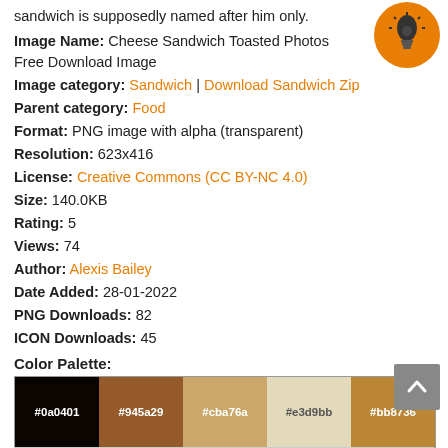sandwich is supposedly named after him only.
Image Name: Cheese Sandwich Toasted Photos Free Download Image
Image category: Sandwich | Download Sandwich Zip
Parent category: Food
Format: PNG image with alpha (transparent)
Resolution: 623x416
License: Creative Commons (CC BY-NC 4.0)
Size: 140.0KB
Rating: 5
Views: 74
Author: Alexis Bailey
Date Added: 28-01-2022
PNG Downloads: 82
ICON Downloads: 45
Color Palette:
[Figure (other): Color palette swatches: #0a0401, #945a29, #cba76a, #e3d9bb, #bb8736]
Please, give attribution to our website freepngimg.com if you use this PNG in your blog or website. Thank you!